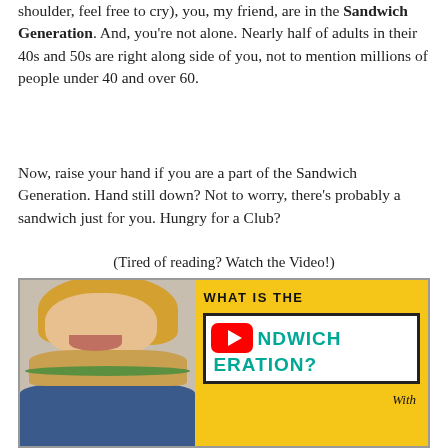shoulder, feel free to cry), you, my friend, are in the Sandwich Generation. And, you're not alone. Nearly half of adults in their 40s and 50s are right along side of you, not to mention millions of people under 40 and over 60.
Now, raise your hand if you are a part of the Sandwich Generation. Hand still down? Not to worry, there's probably a sandwich just for you. Hungry for a Club?
(Tired of reading? Watch the Video!)
[Figure (screenshot): Video thumbnail showing a woman eating a sandwich on the left side (photo), and on the right a yellow background with text 'WHAT IS THE' in black, and a white box with a YouTube play button and teal text 'NDWICH GENERATION?' plus cursive 'With' text at bottom right.]